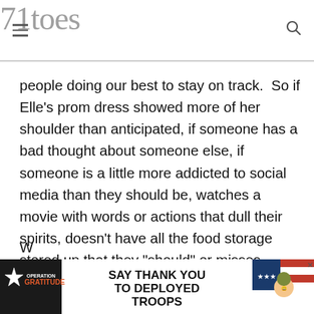71toes
people doing our best to stay on track.  So if Elle’s prom dress showed more of her shoulder than anticipated, if someone has a bad thought about someone else, if someone is a little more addicted to social media than they should be, watches a movie with words or actions that dull their spirits, doesn’t have all the food storage stored up that they “should” or misses church here or there, we can just know that just like us, they have their own lives and backgrounds and thank Heavens we are not in charge of judging that.
W...
[Figure (other): Advertisement banner: Operation Gratitude ‘SAY THANK YOU TO DEPLOYED TROOPS’ with patriotic imagery and cartoon soldier characters]